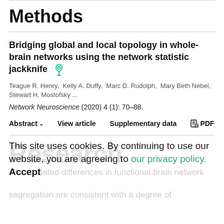Methods
Bridging global and local topology in whole-brain networks using the network statistic jackknife
Teague R. Henry,  Kelly A. Duffy,  Marc D. Rudolph,  Mary Beth Nebel,  Stewart H. Mostofsky ...
Network Neuroscience (2020) 4 (1): 70–88.
Abstract ∨   View article   Supplementary data   PDF
This site uses cookies. By continuing to use our website, you are agreeing to our privacy policy. Accept